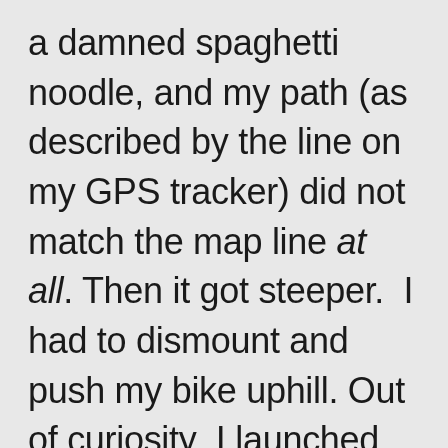a damned spaghetti noodle, and my path (as described by the line on my GPS tracker) did not match the map line at all. Then it got steeper.  I had to dismount and push my bike uphill. Out of curiosity  I launched the “clinometer” app and calibrated it, and it told me that  I was going up a 22-degree slope. (Yes, the iPhone